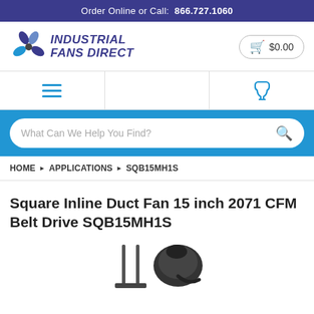Order Online or Call:  866.727.1060
[Figure (logo): Industrial Fans Direct logo with fan blade graphic and bold italic text]
$0.00
[Figure (infographic): Navigation bar with hamburger menu icon on left and phone icon on right]
What Can We Help You Find?
HOME ▶ APPLICATIONS ▶ SQB15MH1S
Square Inline Duct Fan 15 inch 2071 CFM Belt Drive SQB15MH1S
[Figure (photo): Partial photo of a square inline duct fan product, showing the motor and mounting assembly]